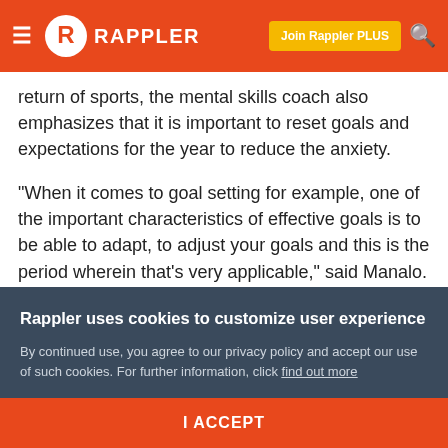Rappler
return of sports, the mental skills coach also emphasizes that it is important to reset goals and expectations for the year to reduce the anxiety.
"When it comes to goal setting for example, one of the important characteristics of effective goals is to be able to adapt, to adjust your goals and this is the period wherein that's very applicable," said Manalo.
"Because you don't expect that after this quarantine, with regards to physical strength and conditioning, you don't
Rappler uses cookies to customize user experience
By continued use, you agree to our privacy policy and accept our use of such cookies. For further information, click find out more
I ACCEPT